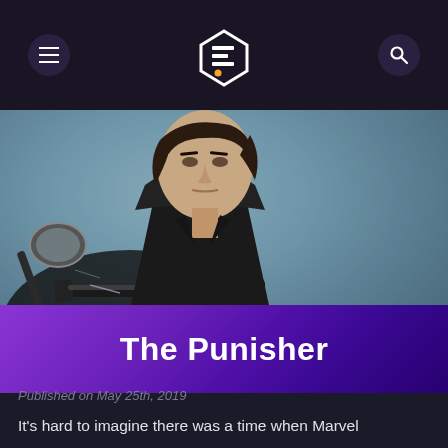Navigation bar with hamburger menu, logo, and search icon
[Figure (photo): A man in a black leather jacket sitting on a motorcycle, looking intensely at the camera, against a blue-grey textured background. The Punisher movie promotional photo.]
The Punisher
Published on May 25th, 2019
It's hard to imagine there was a time when Marvel